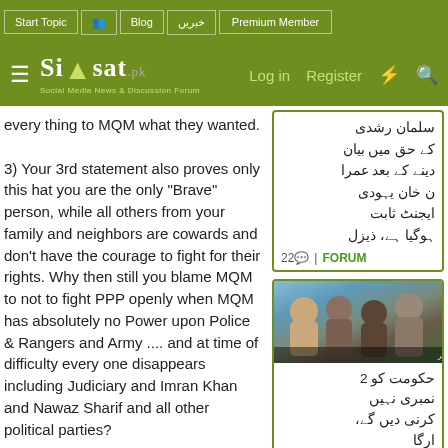Start Topic | Blog | خبریں | Premium Member
Siasat.pk — Log in | Register
every thing to MQM what they wanted.

3) Your 3rd statement also proves only this that you are the only "Brave" person, while all others from your family and neighbors are cowards and don't have the courage to fight for their rights. Why then still you blame MQM to not to fight PPP openly when MQM has absolutely no Power upon Police & Rangers and Army .... and at time of difficulty every one disappears including Judiciary and Imran Khan and Nawaz Sharif and all other political parties?
سلمان رشدی کے حق میں بیان دینے کے بعد عمران خان یہودی ایجنٹ ثابت ہوگیا، ذیزل
22 | FORUM
[Figure (photo): News image showing people in a press conference or public gathering setting]
حکومت کو 2 نمبری نہیں کرنی دیں گے، ارگا
iftikharalam · Jul 13, 2012